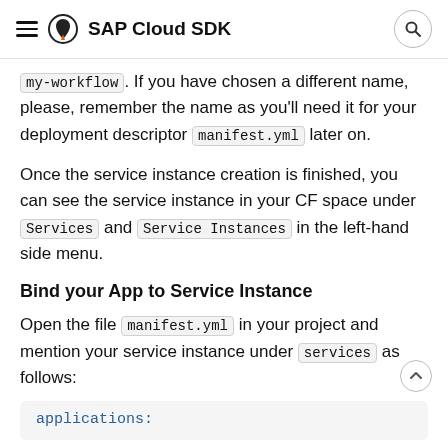SAP Cloud SDK
my-workflow. If you have chosen a different name, please, remember the name as you'll need it for your deployment descriptor manifest.yml later on.
Once the service instance creation is finished, you can see the service instance in your CF space under Services and Service Instances in the left-hand side menu.
Bind your App to Service Instance
Open the file manifest.yml in your project and mention your service instance under services as follows:
[Figure (screenshot): Code block showing 'applications:' in monospace teal/blue text on light gray background]